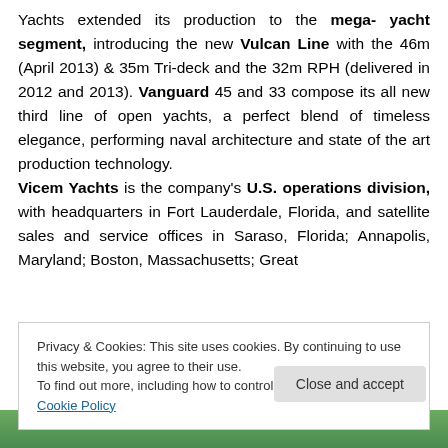Yachts extended its production to the mega-yacht segment, introducing the new Vulcan Line with the 46m (April 2013) & 35m Tri-deck and the 32m RPH (delivered in 2012 and 2013). Vanguard 45 and 33 compose its all new third line of open yachts, a perfect blend of timeless elegance, performing naval architecture and state of the art production technology. Vicem Yachts is the company's U.S. operations division, with headquarters in Fort Lauderdale, Florida, and satellite sales and service offices in Saraso, Florida; Annapolis, Maryland; Boston, Massachusetts; Great
Privacy & Cookies: This site uses cookies. By continuing to use this website, you agree to their use. To find out more, including how to control cookies, see here: Cookie Policy
Close and accept
[Figure (photo): Partial view of a person with blonde hair at the bottom of the page]